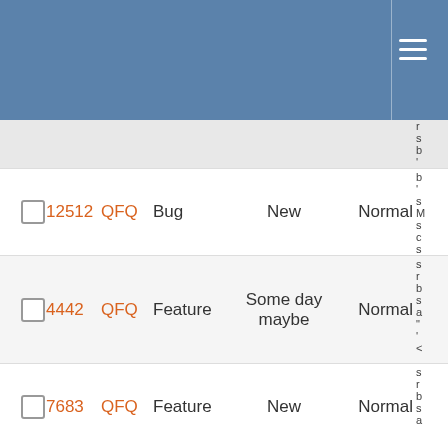| # | ID | Project | Type | Status | Priority | Subject |
| --- | --- | --- | --- | --- | --- | --- |
|  | 12512 | QFQ | Bug | New | Normal | … |
|  | 4442 | QFQ | Feature | Some day maybe | Normal | … |
|  | 7683 | QFQ | Feature | New | Normal | … |
|  | 9928 | QFQ | Feature | Priorize | Normal | … |
|  | 8806 | QFQ | Feature | New | Normal | … |
|  | 12545 | QFQ | Bug | New | Urgent | … |